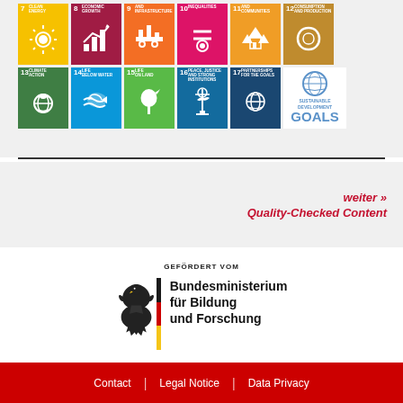[Figure (infographic): UN Sustainable Development Goals icon grid showing SDGs 7-17 in two rows with colored tiles and icons, plus the SDGs logo]
weiter »
Quality-Checked Content
[Figure (logo): GEFÖRDERT VOM - Bundesministerium für Bildung und Forschung (BMBF) logo with German eagle, tricolor bar, and ministry name]
Contact | Legal Notice | Data Privacy